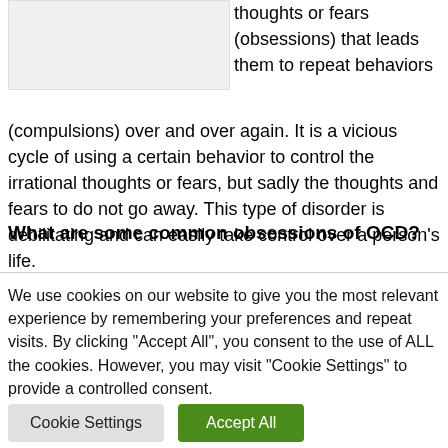[Figure (photo): Partial image of a person, cropped at top-left of the page]
thoughts or fears (obsessions) that leads them to repeat behaviors (compulsions) over and over again. It is a vicious cycle of using a certain behavior to control the irrational thoughts or fears, but sadly the thoughts and fears to do not go away. This type of disorder is debilitating and can easily take control over a person's life.
What are some common obsessions of OCD?
We use cookies on our website to give you the most relevant experience by remembering your preferences and repeat visits. By clicking "Accept All", you consent to the use of ALL the cookies. However, you may visit "Cookie Settings" to provide a controlled consent.